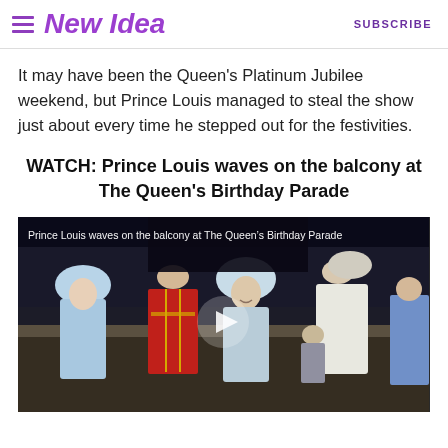New Idea | SUBSCRIBE
It may have been the Queen's Platinum Jubilee weekend, but Prince Louis managed to steal the show just about every time he stepped out for the festivities.
WATCH: Prince Louis waves on the balcony at The Queen's Birthday Parade
[Figure (screenshot): Video thumbnail showing royal family members on a balcony at The Queen's Birthday Parade, with a play button overlay. Caption reads: Prince Louis waves on the balcony at The Queen's Birthday Parade]